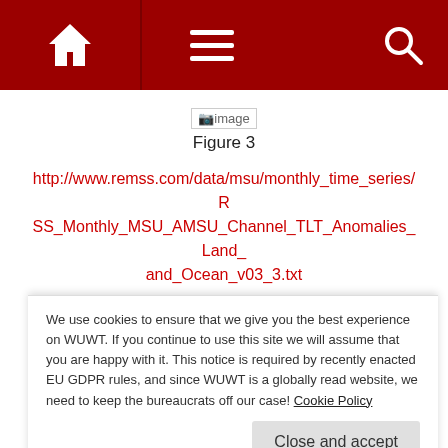[Figure (screenshot): Website navigation bar with dark red background showing home icon, hamburger menu icon, and search icon]
[Figure (other): Broken image placeholder labeled 'image']
Figure 3
http://www.remss.com/data/msu/monthly_time_series/RSS_Monthly_MSU_AMSU_Channel_TLT_Anomalies_Land_and_Ocean_v03_3.txt
The 10-Year running averages have essentially flatlined for the last few years, and have actually started to decline.
We use cookies to ensure that we give you the best experience on WUWT. If you continue to use this site we will assume that you are happy with it. This notice is required by recently enacted EU GDPR rules, and since WUWT is a globally read website, we need to keep the bureaucrats off our case! Cookie Policy
Since 2003, the 10-Year average for RSS has gone up from